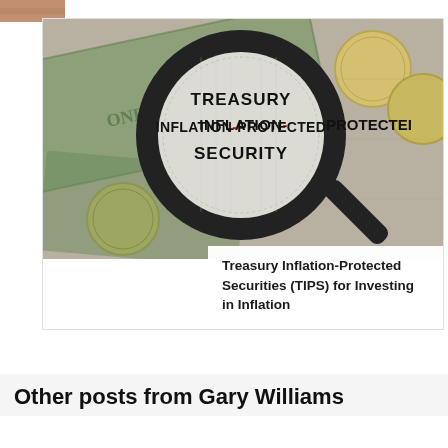[Figure (photo): Partial thumbnail image of a person's hand at top left corner]
[Figure (photo): Photo of US dollar bills and coins with a magnifying glass showing text TREASURY INFLATION-PROTECTED SECURITY. Below the image a white caption box reads: Treasury Inflation-Protected Securities (TIPS) for Investing in Inflation]
Treasury Inflation-Protected Securities (TIPS) for Investing in Inflation
Other posts from Gary Williams